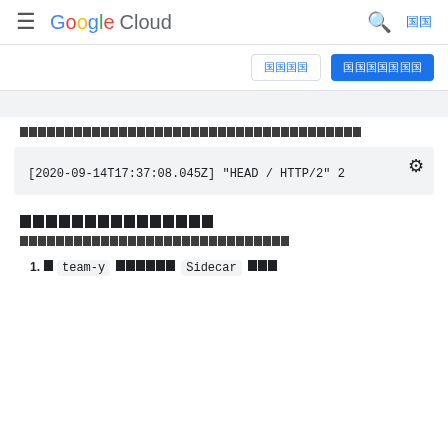≡ Google Cloud  🔍  言語
ログイン  無料で開始
[Figure (screenshot): Gray top bar]
[CJK characters] — description text about Cloud Run logs
[Figure (screenshot): Code block showing: [2020-09-14T17:37:08.045Z] "HEAD / HTTP/2" 2]
[CJK characters] — section heading
[CJK characters] — body text
1. [CJK] team-y [CJK] Sidecar [CJK]